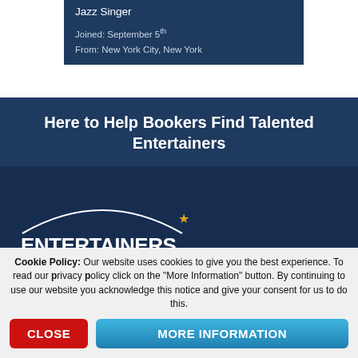Jazz Singer
Joined: September 5th
From: New York City, New York
Here to Help Bookers Find Talented Entertainers
[Figure (logo): Entertainers Worldwide .com logo with arc above text and orange star]
Entertainers Worldwide™ Ltd
Cookie Policy: Our website uses cookies to give you the best experience. To read our privacy policy click on the "More Information" button. By continuing to use our website you acknowledge this notice and give your consent for us to do this.
CLOSE
MORE INFORMATION